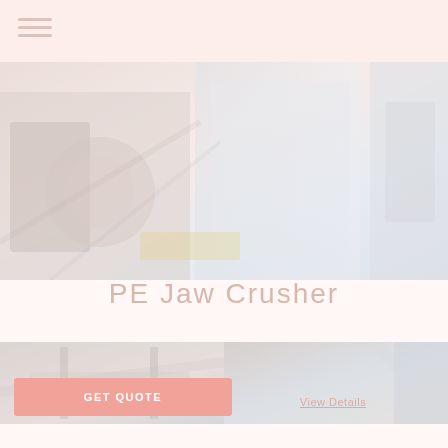[Figure (photo): Industrial PE Jaw Crusher machinery photograph, showing heavy equipment with metal components in an industrial setting]
PE Jaw Crusher
[Figure (photo): Two thumbnail images of jaw crusher equipment at the bottom of the page]
GET QUOTE
View Details